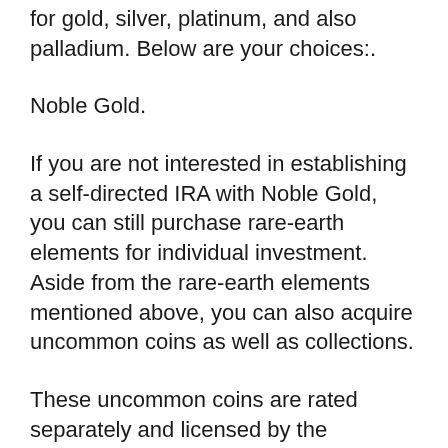for gold, silver, platinum, and also palladium. Below are your choices:.
Noble Gold.
If you are not interested in establishing a self-directed IRA with Noble Gold, you can still purchase rare-earth elements for individual investment. Aside from the rare-earth elements mentioned above, you can also acquire uncommon coins as well as collections.
These uncommon coins are rated separately and licensed by the Numismatic Assurance Firm (NGC) as well as the Expert Coin Grading Service (PCGS). Every coin or collection is sealed to guarantee beautiful